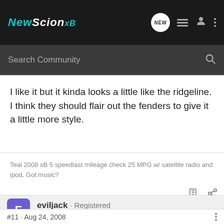NewScion xB
Search Community
I like it but it kinda looks a little like the ridgeline. I think they should flair out the fenders to give it a little more style.
Teal 2008 xB 5 speedlast mileage check 25 MPG w/ satellite radio and ipod, Got music?
eviljack · Registered
Joined Dec 8, 2007 · 2,202 Posts
#11 · Aug 24, 2008